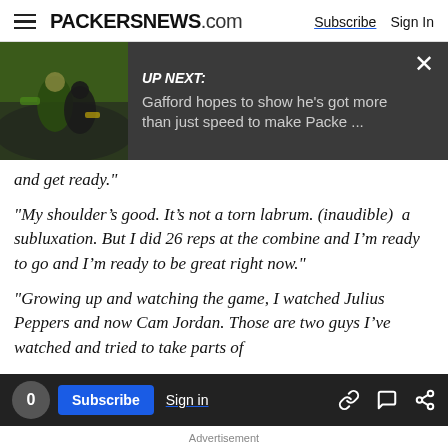PACKERSNEWS.com | Subscribe | Sign In
[Figure (screenshot): UP NEXT banner with football game image thumbnail. Text: UP NEXT: Gafford hopes to show he's got more than just speed to make Packe ... with close X button]
and get ready."
"My shoulder’s good. It’s not a torn labrum. (inaudible)  a subluxation. But I did 26 reps at the combine and I’m ready to go and I’m ready to be great right now."
"Growing up and watching the game, I watched Julius Peppers and now Cam Jordan. Those are two guys I’ve watched and tried to take parts of
0 | Subscribe | Sign in | Advertisement